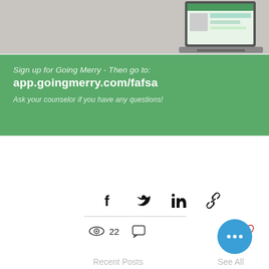[Figure (screenshot): Blurred laptop screenshot showing a web application interface, placed on a light grey desk background]
Sign up for Going Merry - Then go to:
app.goingmerry.com/fafsa

Ask your counselor if you have any questions!
[Figure (infographic): Social share icons: Facebook, Twitter, LinkedIn, and link/chain icon]
22
[Figure (infographic): Views icon, comment icon, heart (like) icon, and blue more-options button with three dots]